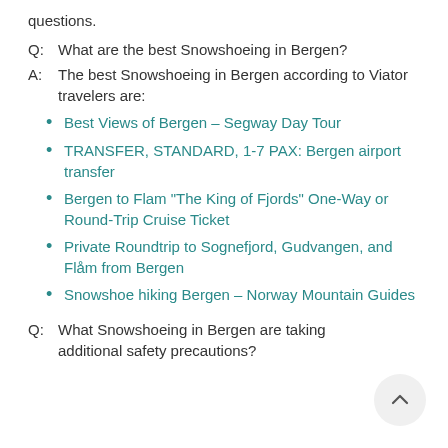questions.
Q:  What are the best Snowshoeing in Bergen?
A:  The best Snowshoeing in Bergen according to Viator travelers are:
Best Views of Bergen - Segway Day Tour
TRANSFER, STANDARD, 1-7 PAX: Bergen airport transfer
Bergen to Flam "The King of Fjords" One-Way or Round-Trip Cruise Ticket
Private Roundtrip to Sognefjord, Gudvangen, and Flåm from Bergen
Snowshoe hiking Bergen - Norway Mountain Guides
Q:  What Snowshoeing in Bergen are taking additional safety precautions?